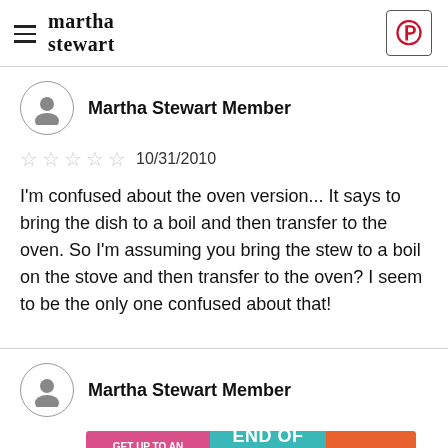martha stewart
Martha Stewart Member
☆☆☆☆☆  10/31/2010
I'm confused about the oven version... It says to bring the dish to a boil and then transfer to the oven. So I'm assuming you bring the stew to a boil on the stove and then transfer to the oven? I seem to be the only one confused about that!
Martha Stewart Member
[Figure (infographic): Advertisement banner: GET UP TO AN EXTRA 50% OFF | END OF SUMMER SALE-A-THON | SHOP NOW]